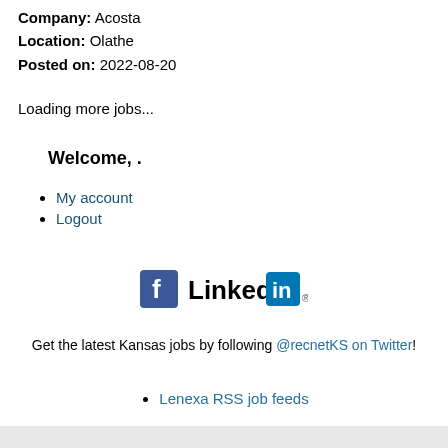Company: Acosta
Location: Olathe
Posted on: 2022-08-20
Loading more jobs...
Welcome, .
My account
Logout
[Figure (logo): Facebook and LinkedIn social media icons]
Get the latest Kansas jobs by following @recnetKS on Twitter!
Lenexa RSS job feeds